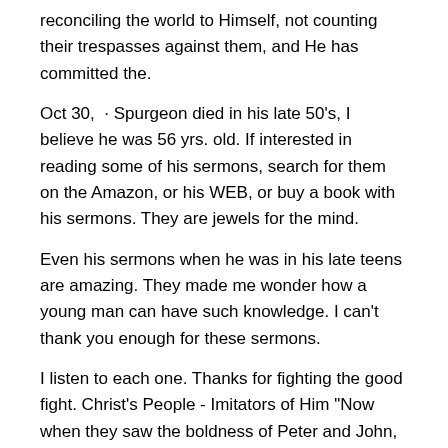reconciling the world to Himself, not counting their trespasses against them, and He has committed the.
Oct 30,  · Spurgeon died in his late 50's, I believe he was 56 yrs. old. If interested in reading some of his sermons, search for them on the Amazon, or his WEB, or buy a book with his sermons. They are jewels for the mind.
Even his sermons when he was in his late teens are amazing. They made me wonder how a young man can have such knowledge. I can't thank you enough for these sermons.
I listen to each one. Thanks for fighting the good fight. Christ's People - Imitators of Him "Now when they saw the boldness of Peter and John, and perceived that they were unlearned and ignorant men, they marvelled; and they took knowledge of them, that they had been with Jesus."—Acts Behold.
what a change divine grace will work in. Find Peoples Sermons and Illustrations. Free Access to Sermons on Peoples, Church Sermons, Illustrations on Peoples, and PowerPoints for Preaching on Peoples.